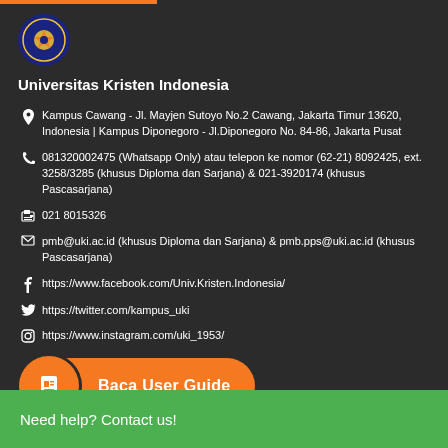[Figure (logo): Universitas Kristen Indonesia circular logo with dark blue background]
Universitas Kristen Indonesia
Kampus Cawang - Jl. Mayjen Sutoyo No.2 Cawang, Jakarta Timur 13620, Indonesia | Kampus Diponegoro - Jl.Diponegoro No. 84-86, Jakarta Pusat
081320002475 (Whatsapp Only) atau telepon ke nomor (62-21) 8092425, ext. 3258/3285 (khusus Diploma dan Sarjana) & 021-3920174 (khusus Pascasarjana)
021 8015326
pmb@uki.ac.id (khusus Diploma dan Sarjana) & pmb.pps@uki.ac.id (khusus Pascasarjana)
https://www.facebook.com/Univ.Kristen.Indonesia/
https://twitter.com/kampus_uki
https://www.instagram.com/uki_1953/
Baca User Guide
Need help? Contact us!